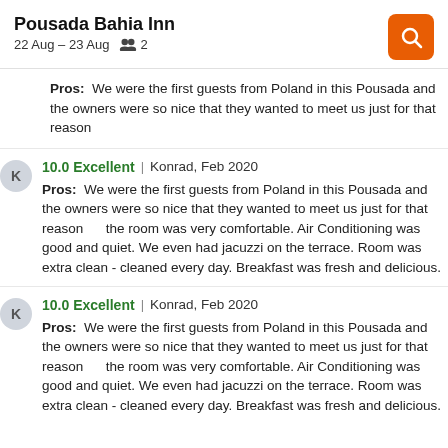Pousada Bahia Inn | 22 Aug – 23 Aug | 2
Pros:  We were the first guests from Poland in this Pousada and the owners were so nice that they wanted to meet us just for that reason
10.0 Excellent | Konrad, Feb 2020
Pros:  We were the first guests from Poland in this Pousada and the owners were so nice that they wanted to meet us just for that reason      the room was very comfortable. Air Conditioning was good and quiet. We even had jacuzzi on the terrace. Room was extra clean - cleaned every day. Breakfast was fresh and delicious.
10.0 Excellent | Konrad, Feb 2020
Pros:  We were the first guests from Poland in this Pousada and the owners were so nice that they wanted to meet us just for that reason      the room was very comfortable. Air Conditioning was good and quiet. We even had jacuzzi on the terrace. Room was extra clean - cleaned every day. Breakfast was fresh and delicious.